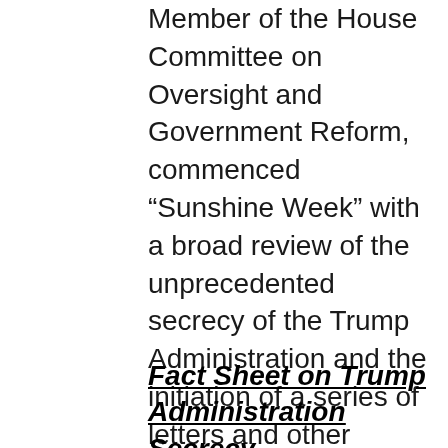Member of the House Committee on Oversight and Government Reform, commenced “Sunshine Week” with a broad review of the unprecedented secrecy of the Trump Administration and the initiation of a series of letters and other actions seeking information that has been withheld from Congress for months.  Sunshine Week is focused on efforts to improve government transparency and openness.
Fact Sheet on Trump Administration Secrecy